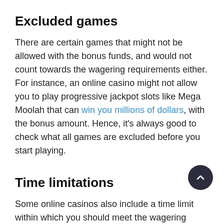Excluded games
There are certain games that might not be allowed with the bonus funds, and would not count towards the wagering requirements either. For instance, an online casino might not allow you to play progressive jackpot slots like Mega Moolah that can win you millions of dollars, with the bonus amount. Hence, it’s always good to check what all games are excluded before you start playing.
Time limitations
Some online casinos also include a time limit within which you should meet the wagering requirement, to qualify for withdrawals. Fail to adhere to this time limit and you will lose all winnings that came through the bonus funds. While this time limit is less than seven days for some online casinos, the others